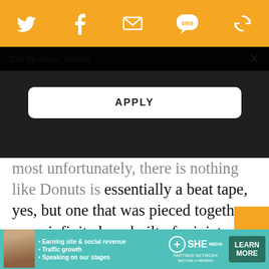[Social share icons: Twitter, Facebook, Email, SMS, Feed]
Call for Music Writers
[Figure (screenshot): APPLY button overlay on dark background]
most unfortunately, there is nothing like Donuts is essentially a beat tape, yes, but one that was pieced together as an infinite loop built of miniatures. It’s filled with jokes, with puzzles, with quick emotional reveries and with samples both familiar and disguised. It’s a masterpiece of hip-hop ingenuity that’s a testament to its creator’s genius but also stands in for the very spirit of the genre. — Dave Heaton
[Figure (infographic): SHE Partner Network advertisement banner with bullet points: Earning site & social revenue, Traffic growth, Speaking on our stages. LEARN MORE button.]